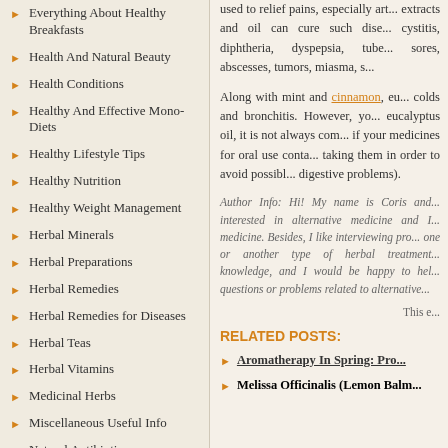Everything About Healthy Breakfasts
Health And Natural Beauty
Health Conditions
Healthy And Effective Mono-Diets
Healthy Lifestyle Tips
Healthy Nutrition
Healthy Weight Management
Herbal Minerals
Herbal Preparations
Herbal Remedies
Herbal Remedies for Diseases
Herbal Teas
Herbal Vitamins
Medicinal Herbs
Miscellaneous Useful Info
Natural Antibiotics
Natural Aphrodisiacs
Natural Aspirin Sources
Natural Living for Life
used to relief pains, especially ar... extracts and oil can cure such dise... cystitis, diphtheria, dyspepsia, tube... sores, abscesses, tumors, miasma, s...
Along with mint and cinnamon, eu... colds and bronchitis. However, you... eucalyptus oil, it is not always com... if your medicines for oral use conta... taking them in order to avoid possi... digestive problems).
Author Info: Hi! My name is Coris and... interested in alternative medicine and I... medicine. Besides, I like interviewing pro... one or another type of herbal treatment... knowledge, and I would be happy to hel... questions or problems related to alternative...
This e...
RELATED POSTS:
Aromatherapy In Spring: Pro...
Melissa Officinalis (Lemon Balm...